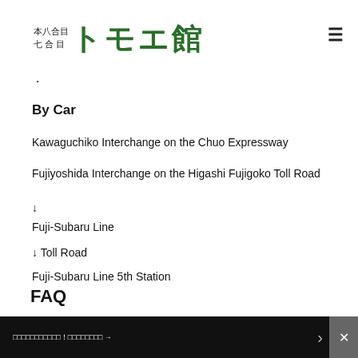本八合目 七合目 トモエ館
・
By Car
Kawaguchiko Interchange on the Chuo Expressway
Fujiyoshida Interchange on the Higashi Fujigoko Toll Road
↓
Fuji-Subaru Line
↓ Toll Road
Fuji-Subaru Line 5th Station
FAQ
□□□□□□□□□□□!□□□□□□□□ →